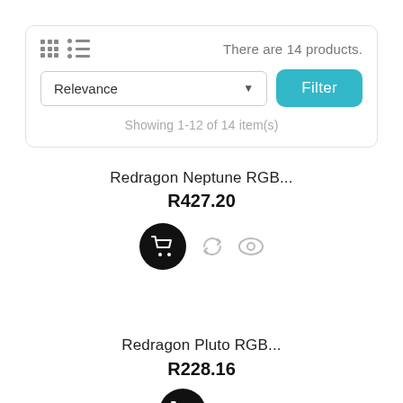There are 14 products.
Relevance
Filter
Showing 1-12 of 14 item(s)
Redragon Neptune RGB...
R427.20
Redragon Pluto RGB...
R228.16